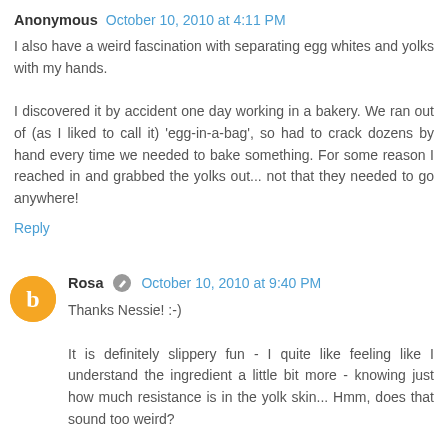Anonymous  October 10, 2010 at 4:11 PM
I also have a weird fascination with separating egg whites and yolks with my hands.
I discovered it by accident one day working in a bakery. We ran out of (as I liked to call it) 'egg-in-a-bag', so had to crack dozens by hand every time we needed to bake something. For some reason I reached in and grabbed the yolks out... not that they needed to go anywhere!
Reply
Rosa  October 10, 2010 at 9:40 PM
Thanks Nessie! :-)
It is definitely slippery fun - I quite like feeling like I understand the ingredient a little bit more - knowing just how much resistance is in the yolk skin... Hmm, does that sound too weird?